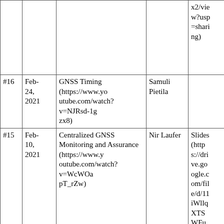| # | Date | Title / Link | Speaker | Slides |
| --- | --- | --- | --- | --- |
|  |  |  |  | x2/view?usp=sharing) |
| #16 | Feb-24, 2021 | GNSS Timing (https://www.youtube.com/watch?v=NJRsd-1gzx8) | Samuli Pietila |  |
| #15 | Feb-10, 2021 | Centralized GNSS Monitoring and Assurance (https://www.youtube.com/watch?v=WcWOapT_rZw) | Nir Laufer | Slides (https://drive.google.com/file/d/11iWllqXTSWFuXR3p53nk4o4DNDCqBUa6/view?usp=sharing) |